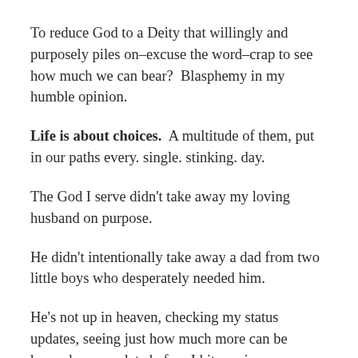To reduce God to a Deity that willingly and purposely piles on–excuse the word–crap to see how much we can bear?  Blasphemy in my humble opinion.
Life is about choices.  A multitude of them, put in our paths every. single. stinking. day.
The God I serve didn't take away my loving husband on purpose.
He didn't intentionally take away a dad from two little boys who desperately needed him.
He's not up in heaven, checking my status updates, seeing just how much more can be heaped on my plate before I hit maximum capacity.